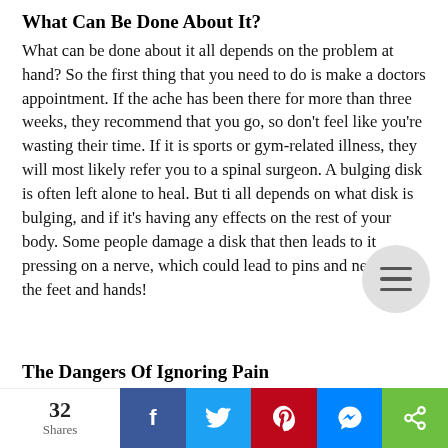What Can Be Done About It?
What can be done about it all depends on the problem at hand? So the first thing that you need to do is make a doctors appointment. If the ache has been there for more than three weeks, they recommend that you go, so don't feel like you're wasting their time. If it is sports or gym-related illness, they will most likely refer you to a spinal surgeon. A bulging disk is often left alone to heal. But ti all depends on what disk is bulging, and if it's having any effects on the rest of your body. Some people damage a disk that then leads to it pressing on a nerve, which could lead to pins and needles in the feet and hands!
The Dangers Of Ignoring Pain
The main danger is that leaving it could lead to bigger
32 Shares | Facebook | Twitter | Pinterest | Messenger | Share